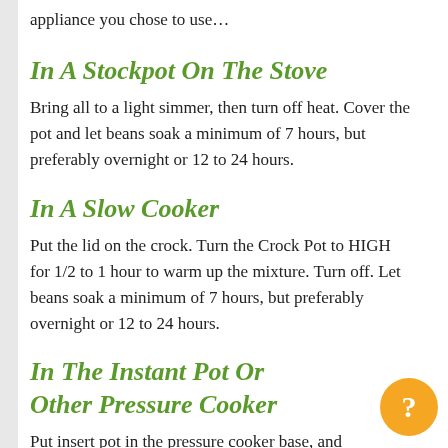appliance you chose to use…
In A Stockpot On The Stove
Bring all to a light simmer, then turn off heat. Cover the pot and let beans soak a minimum of 7 hours, but preferably overnight or 12 to 24 hours.
In A Slow Cooker
Put the lid on the crock. Turn the Crock Pot to HIGH for 1/2 to 1 hour to warm up the mixture. Turn off. Let beans soak a minimum of 7 hours, but preferably overnight or 12 to 24 hours.
In The Instant Pot Or Other Pressure Cooker
Put insert pot in the pressure cooker base, and